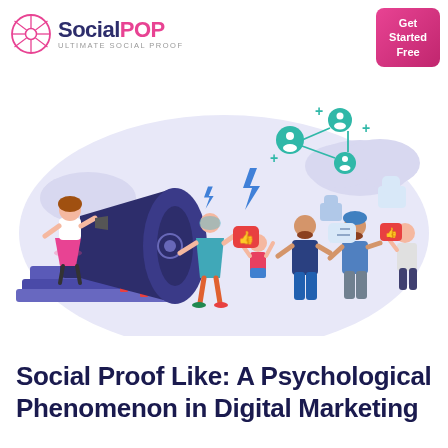SocialPOP — ULTIMATE SOCIAL PROOF
[Figure (illustration): Marketing illustration showing people around a large megaphone with social media icons (like buttons, thumbs up, user network nodes, lightning bolts, speech bubbles) floating above on a light purple/lavender background. A woman stands on stacked books at a megaphone, various people hold up like/thumbs-up signs and interact.]
Social Proof Like: A Psychological Phenomenon in Digital Marketing